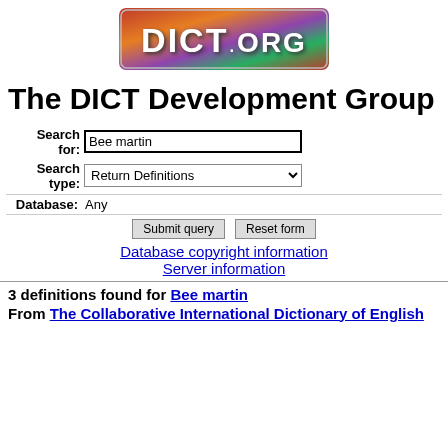[Figure (logo): DICT.org logo banner with colorful abstract background and white DICT.ORG text]
The DICT Development Group
Search for: Bee martin | Search type: Return Definitions | Database: Any | Submit query | Reset form
Database copyright information
Server information
3 definitions found for Bee martin
From The Collaborative International Dictionary of English